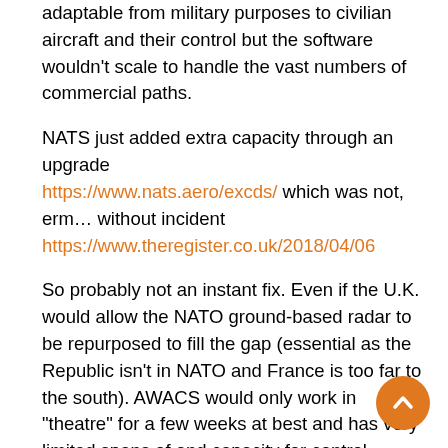adaptable from military purposes to civilian aircraft and their control but the software wouldn't scale to handle the vast numbers of commercial paths.
NATS just added extra capacity through an upgrade https://www.nats.aero/excds/ which was not, erm… without incident https://www.theregister.co.uk/2018/04/06
So probably not an instant fix. Even if the U.K. would allow the NATO ground-based radar to be repurposed to fill the gap (essential as the Republic isn't in NATO and France is too far to the south). AWACS would only work in "theatre" for a few weeks at best and has very limited spans of and capacity for control.
Techie limitations aside, if it was a NATO-instigated fudge, the U.K. might go for it. But that would be on the basis it got the benefit. Then the EU27 would probably resist for that very reason. So back to square one.